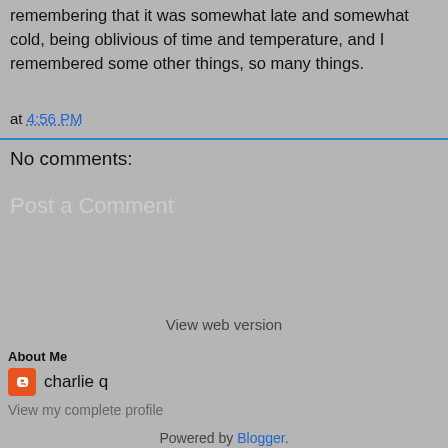remembering that it was somewhat late and somewhat cold, being oblivious of time and temperature, and I remembered some other things, so many things.
at 4:56 PM
No comments:
Post a Comment
[Figure (screenshot): Three white input/button boxes in a row for posting a comment]
View web version
About Me
charlie q
View my complete profile
Powered by Blogger.